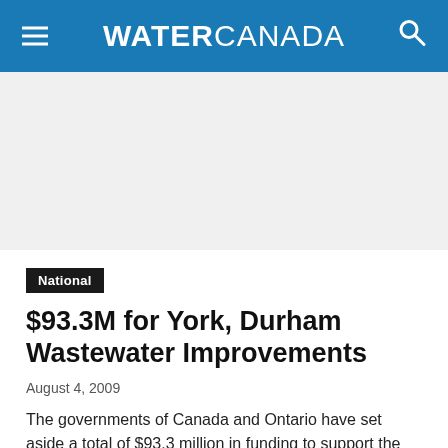WATER CANADA
[Figure (other): Blank/white image placeholder area]
National
$93.3M for York, Durham Wastewater Improvements
August 4, 2009
The governments of Canada and Ontario have set aside a total of $93.3 million in funding to support the Duffin Creek Water Pollution Control...